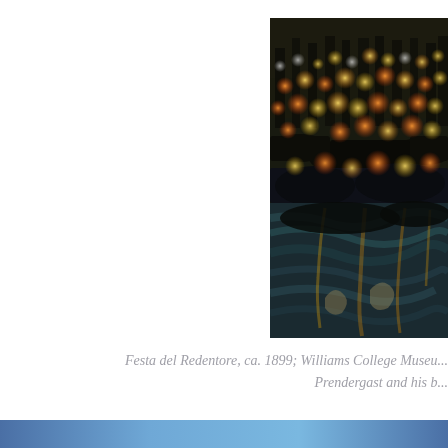[Figure (photo): A painting depicting Festa del Redentore, ca. 1899. The painting shows a dark nighttime scene with orange, yellow, and white glowing circular lights (lanterns or festive lights) arranged in rows across gondolas or boats on water, against a very dark background. The lower portion shows reflective water with swirling teal and gold hues.]
Festa del Redentore, ca. 1899; Williams College Museum... Prendergast and his b...